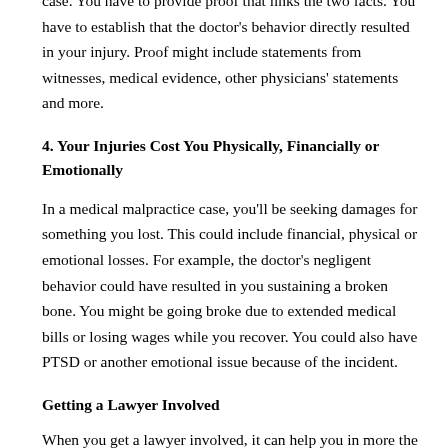case. You have to provide proof that links the two facts. You have to establish that the doctor's behavior directly resulted in your injury. Proof might include statements from witnesses, medical evidence, other physicians' statements and more.
4. Your Injuries Cost You Physically, Financially or Emotionally
In a medical malpractice case, you'll be seeking damages for something you lost. This could include financial, physical or emotional losses. For example, the doctor's negligent behavior could have resulted in you sustaining a broken bone. You might be going broke due to extended medical bills or losing wages while you recover. You could also have PTSD or another emotional issue because of the incident.
Getting a Lawyer Involved
When you get a lawyer involved, it can help you in more the...